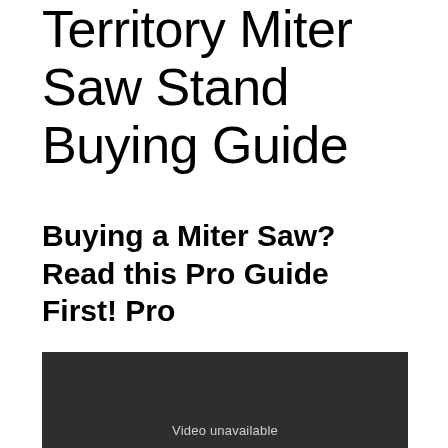Territory Miter Saw Stand Buying Guide
Buying a Miter Saw? Read this Pro Guide First! Pro
[Figure (other): Embedded video player showing 'Video unavailable' message on a dark background]